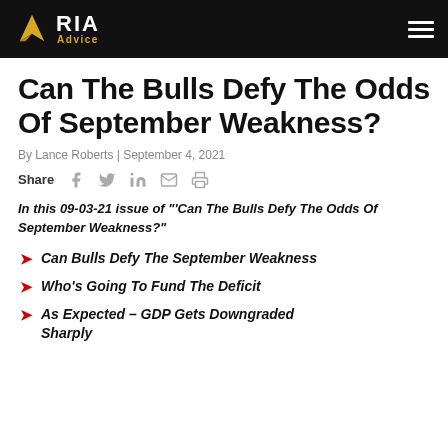RIA Advice
Can The Bulls Defy The Odds Of September Weakness?
By Lance Roberts | September 4, 2021
Share
In this 09-03-21 issue of "'Can The Bulls Defy The Odds Of September Weakness?"
Can Bulls Defy The September Weakness
Who's Going To Fund The Deficit
As Expected – GDP Gets Downgraded Sharply